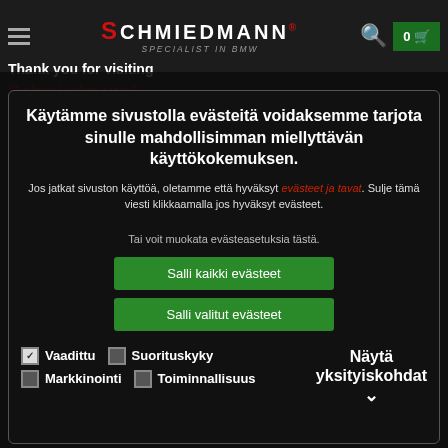Schmiedmann — specialist in BMW
Thank you for visiting Schmiedmann! We noticed you are from...
Käytämme sivustolla evästeitä voidaksemme tarjota sinulle mahdollisimman miellyttävän käyttökokemuksen.
Jos jatkat sivuston käyttöä, oletamme että hyväksyt evästeet ja tavat. Sulje tämä viesti klikkaamalla jos hyväksyt evästeet.
Tai voit muokata evästeasetuksia tästä.
Salli kaikki evästeet
Salli valitut evästeet
Vaadittu  Suorituskyky  Markkinointi  Toiminnallisuus  Näytä yksityiskohdat